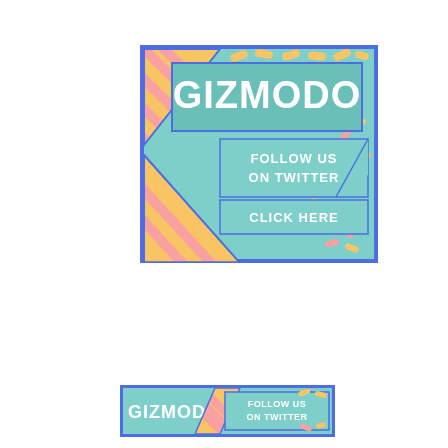[Figure (infographic): Gizmodo social media banner ad. Large square ad with blue border on teal background. Yellow and pink diagonal stripes in corners. Top section has a darker teal rectangle with white bold text GIZMODO. Middle section has FOLLOW US ON TWITTER text. Bottom section has CLICK HERE button. Scattered yellow and pink sprinkle shapes on right side.]
[Figure (infographic): Gizmodo horizontal banner ad. Blue border, teal background. Left section with white bold text GIZMODO. Center has pink/yellow diagonal stripe divider. Right section with smaller blue rectangle and text FOLLOW US ON TWITTER.]